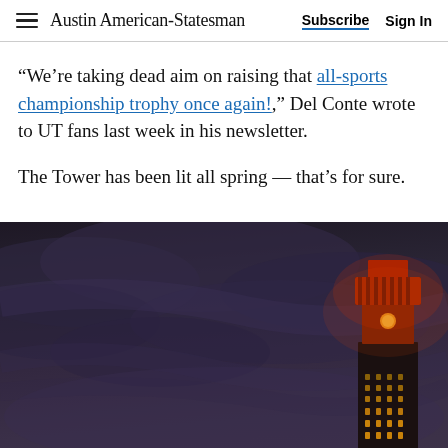Austin American-Statesman | Subscribe  Sign In
“We’re taking dead aim on raising that all-sports championship trophy once again!,” Del Conte wrote to UT fans last week in his newsletter.
The Tower has been lit all spring — that’s for sure.
[Figure (photo): Nighttime photograph of the UT Tower in Austin illuminated in orange/red against a dark, cloudy sky]